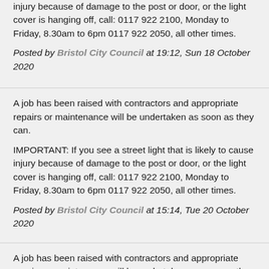injury because of damage to the post or door, or the light cover is hanging off, call: 0117 922 2100, Monday to Friday, 8.30am to 6pm 0117 922 2050, all other times.
Posted by Bristol City Council at 19:12, Sun 18 October 2020
A job has been raised with contractors and appropriate repairs or maintenance will be undertaken as soon as they can.
IMPORTANT: If you see a street light that is likely to cause injury because of damage to the post or door, or the light cover is hanging off, call: 0117 922 2100, Monday to Friday, 8.30am to 6pm 0117 922 2050, all other times.
Posted by Bristol City Council at 15:14, Tue 20 October 2020
A job has been raised with contractors and appropriate repairs or maintenance will be undertaken as soon as they can.
IMPORTANT: If you see a street light that is likely to cause